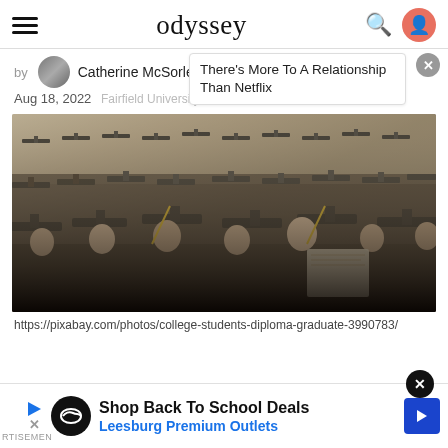odyssey
by Catherine McSorley
There's More To A Relationship Than Netflix
Aug 18, 2022  Fairfield University
[Figure (photo): Large crowd of college students in graduation caps and gowns seated at a graduation ceremony, viewed from the side.]
https://pixabay.com/photos/college-students-diploma-graduate-3990783/
Shop Back To School Deals  Leesburg Premium Outlets